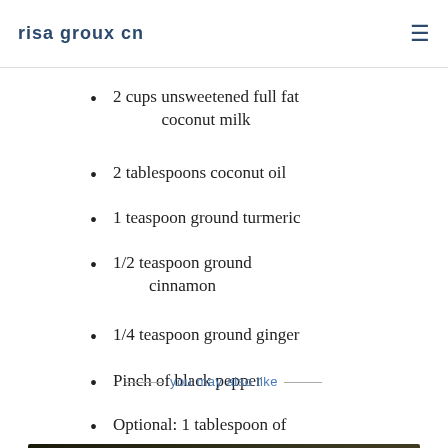risa groux cn
2 cups unsweetened full fat coconut milk
2 tablespoons coconut oil
1 teaspoon ground turmeric
1/2 teaspoon ground cinnamon
1/4 teaspoon ground ginger
Pinch of black pepper
Optional: 1 tablespoon of
you may also like
[Figure (photo): Two large mason jars filled with pickled yellow and green vegetables, photographed from the front on a dark background]